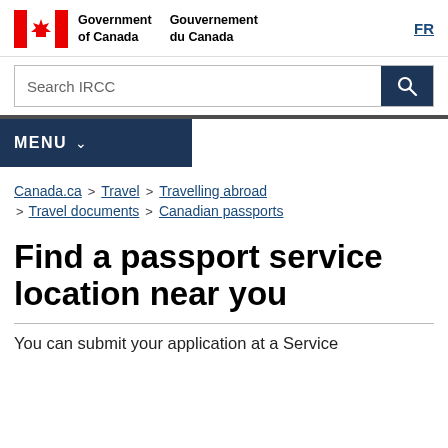Government of Canada / Gouvernement du Canada | FR
[Figure (screenshot): Search bar with label 'Search IRCC' and a dark blue search button with magnifying glass icon]
[Figure (screenshot): Dark navy MENU navigation bar with dropdown chevron]
Canada.ca > Travel > Travelling abroad > Travel documents > Canadian passports
Find a passport service location near you
You can submit your application at a Service